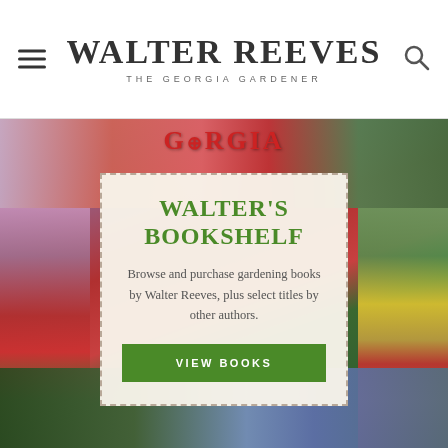Walter Reeves — The Georgia Gardener
[Figure (photo): Hero image showing a collage of gardening book covers including Georgia magazine, The Backyard Gardener, Vegetables, 501 Answers, and other Walter Reeves publications, with an overlay promotional card for Walter's Bookshelf]
WALTER'S BOOKSHELF
Browse and purchase gardening books by Walter Reeves, plus select titles by other authors.
VIEW BOOKS